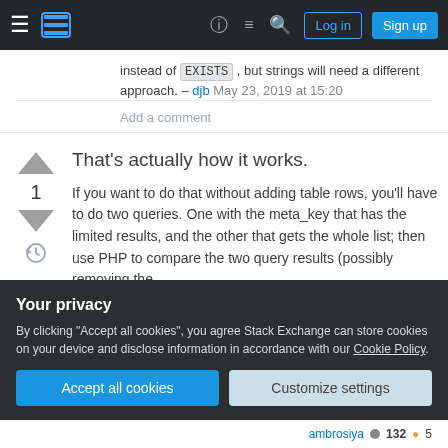Stack Exchange navigation bar with Log in and Sign up buttons
instead of EXISTS , but strings will need a different approach. – djb May 23, 2019 at 15:20
Add a comment
That's actually how it works.
If you want to do that without adding table rows, you'll have to do two queries. One with the meta_key that has the limited results, and the other that gets the whole list; then use PHP to compare the two query results (possibly removing the
Your privacy
By clicking "Accept all cookies", you agree Stack Exchange can store cookies on your device and disclose information in accordance with our Cookie Policy.
Accept all cookies   Customize settings